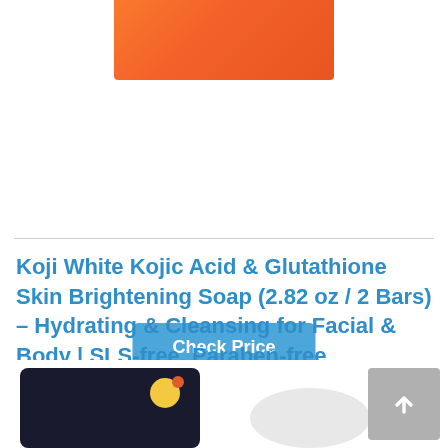[Figure (photo): Product photo of an orange soap box, partially visible at top of page]
Check Price
Koji White Kojic Acid & Glutathione Skin Brightening Soap (2.82 oz / 2 Bars) – Hydrating & Cleansing for Facial & Body | SLS-free, Paraben-free
[Figure (photo): Two product photos at the bottom: a dark/black soap bar with floral design and a white oval soap bar]